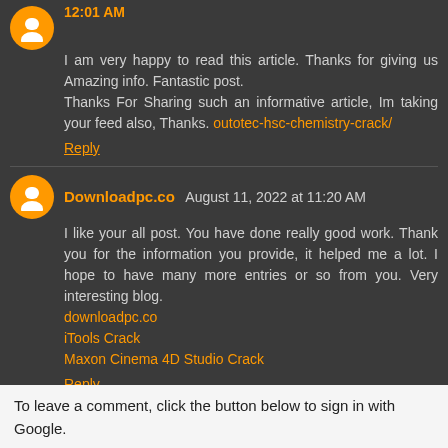12:01 AM
I am very happy to read this article. Thanks for giving us Amazing info. Fantastic post. Thanks For Sharing such an informative article, Im taking your feed also, Thanks. outotec-hsc-chemistry-crack/
Reply
Downloadpc.co August 11, 2022 at 11:20 AM
I like your all post. You have done really good work. Thank you for the information you provide, it helped me a lot. I hope to have many more entries or so from you. Very interesting blog.
downloadpc.co
iTools Crack
Maxon Cinema 4D Studio Crack
Reply
To leave a comment, click the button below to sign in with Google.